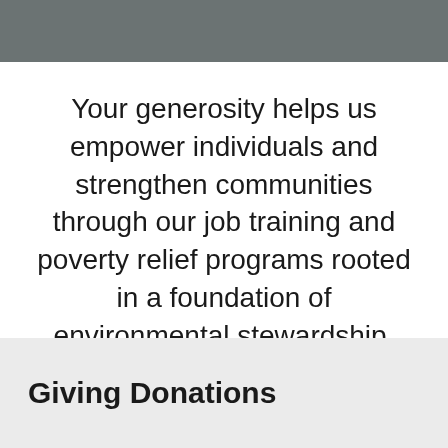[Figure (photo): Dark grey/slate colored banner image at top of page]
Your generosity helps us empower individuals and strengthen communities through our job training and poverty relief programs rooted in a foundation of environmental stewardship.
Giving Donations